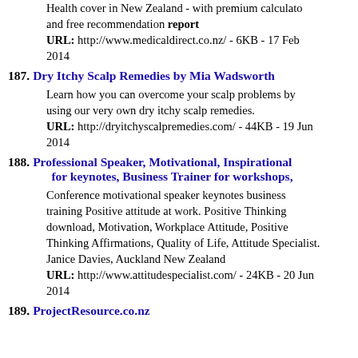Health cover in New Zealand - with premium calculator and free recommendation report
URL: http://www.medicaldirect.co.nz/ - 6KB - 17 Feb 2014
187. Dry Itchy Scalp Remedies by Mia Wadsworth
Learn how you can overcome your scalp problems by using our very own dry itchy scalp remedies.
URL: http://dryitchyscalpremedies.com/ - 44KB - 19 Jun 2014
188. Professional Speaker, Motivational, Inspirational for keynotes, Business Trainer for workshops,
Conference motivational speaker keynotes business training Positive attitude at work. Positive Thinking download, Motivation, Workplace Attitude, Positive Thinking Affirmations, Quality of Life, Attitude Specialist. Janice Davies, Auckland New Zealand
URL: http://www.attitudespecialist.com/ - 24KB - 20 Jun 2014
189. ProjectResource.co.nz